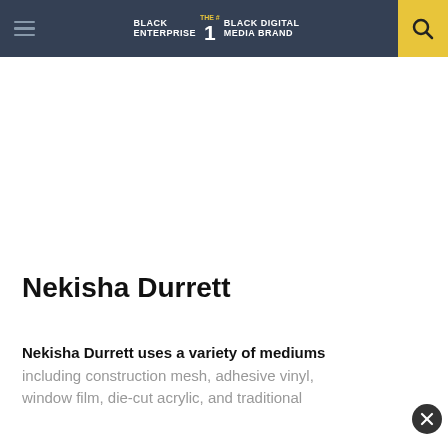BLACK ENTERPRISE THE #1 BLACK DIGITAL MEDIA BRAND
Nekisha Durrett
Nekisha Durrett uses a variety of mediums including construction mesh, adhesive vinyl, window film, die-cut acrylic, and traditional